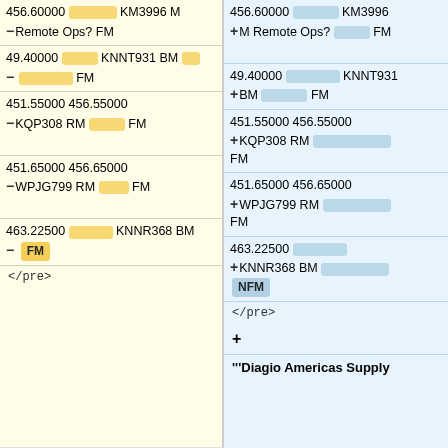| 456.60000 [redacted] KM3996 M
-Remote Ops? FM | 456.60000 [redacted] KM3996
+M Remote Ops? [redacted] FM |
| 49.40000 [redacted] KNNT931 BM
- [redacted] FM | 49.40000 [redacted] KNNT931
+ BM [redacted] FM |
| 451.55000 456.55000
-KQP308 RM [redacted] FM | 451.55000 456.55000
+KQP308 RM [redacted]
FM |
| 451.65000 456.65000
-WPJG799 RM [redacted] FM | 451.65000 456.65000
+WPJG799 RM [redacted]
FM |
| 463.22500 [redacted] KNNR368 BM
- FM | 463.22500 [redacted]
+KNNR368 BM [redacted]
NFM |
| </pre> | </pre> |
|  | +
'''Diagio Americas Supply |